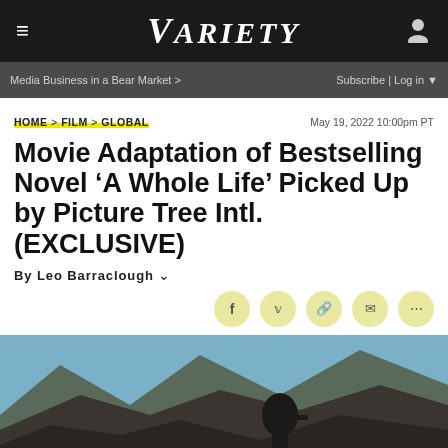VARIETY
Media Business in a Bear Market >  Subscribe | Log in
HOME > FILM > GLOBAL   May 19, 2022 10:00pm PT
Movie Adaptation of Bestselling Novel 'A Whole Life' Picked Up by Picture Tree Intl. (EXCLUSIVE)
By Leo Barraclough
[Figure (photo): Outdoor mountain/cliff scene with a person, dark rocky landscape with blue sky]